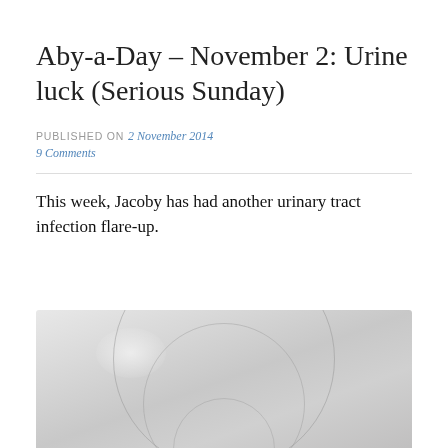Aby-a-Day – November 2: Urine luck (Serious Sunday)
PUBLISHED ON 2 November 2014
9 Comments
This week, Jacoby has had another urinary tract infection flare-up.
[Figure (photo): Close-up photograph of a clear glass or plastic dish/container, likely a urine sample collection dish, with concentric circular ridges visible, against a light grey background.]